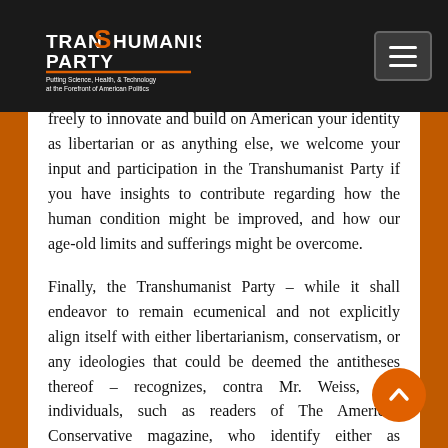Transhumanist Party — site header with logo and navigation menu button
freely to innovate and build on American your identity as libertarian or as anything else, we welcome your input and participation in the Transhumanist Party if you have insights to contribute regarding how the human condition might be improved, and how our age-old limits and sufferings might be overcome.
Finally, the Transhumanist Party – while it shall endeavor to remain ecumenical and not explicitly align itself with either libertarianism, conservatism, or any ideologies that could be deemed the antitheses thereof – recognizes, contra Mr. Weiss, that individuals, such as readers of The American Conservative magazine, who identify either as libertarians, or as conservatives, or both, will be able